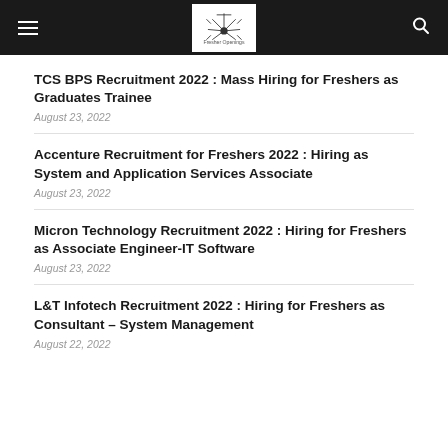Fresher Openings
TCS BPS Recruitment 2022 : Mass Hiring for Freshers as Graduates Trainee
August 23, 2022
Accenture Recruitment for Freshers 2022 : Hiring as System and Application Services Associate
August 23, 2022
Micron Technology Recruitment 2022 : Hiring for Freshers as Associate Engineer-IT Software
August 23, 2022
L&T Infotech Recruitment 2022 : Hiring for Freshers as Consultant – System Management
August 22, 2022